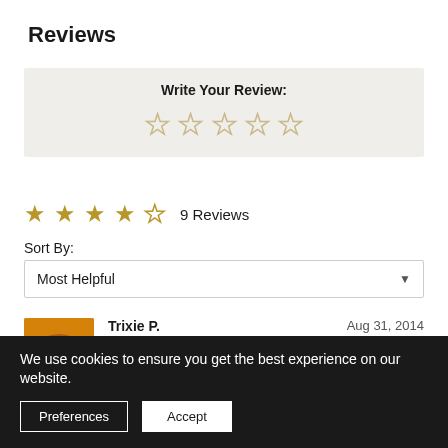Reviews
Write Your Review:
★★★★★ 9 Reviews
Sort By:
Most Helpful
[Figure (photo): Reviewer avatar photo showing a food dish]
Trixie P.   Aug 31, 2014  ★★★★★
Great!
We use cookies to ensure you get the best experience on our website.
Preferences  Accept